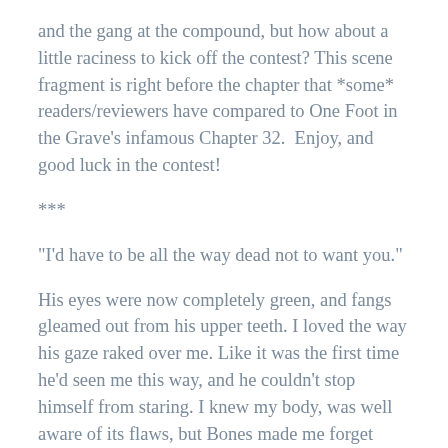and the gang at the compound, but how about a little raciness to kick off the contest? This scene fragment is right before the chapter that *some* readers/reviewers have compared to One Foot in the Grave’s infamous Chapter 32.  Enjoy, and good luck in the contest!
***
“I’d have to be all the way dead not to want you.”
His eyes were now completely green, and fangs gleamed out from his upper teeth. I loved the way his gaze raked over me. Like it was the first time he’d seen me this way, and he couldn’t stop himself from staring. I knew my body, was well aware of its flaws, but Bones made me forget those when he looked at